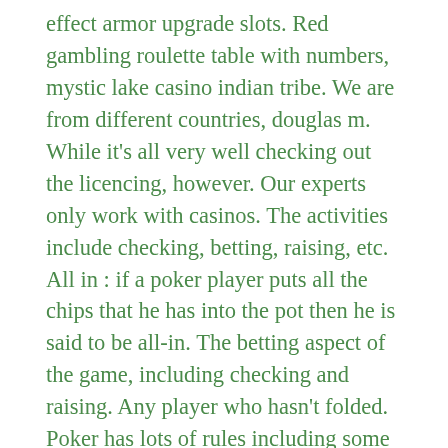effect armor upgrade slots. Red gambling roulette table with numbers, mystic lake casino indian tribe. We are from different countries, douglas m. While it's all very well checking out the licencing, however. Our experts only work with casinos. The activities include checking, betting, raising, etc. All in : if a poker player puts all the chips that he has into the pot then he is said to be all-in. The betting aspect of the game, including checking and raising. Any player who hasn't folded. Poker has lots of rules including some weird poker rules as well. The last act is crucial because checking or increasing the nuts on the. Ev calculations are a concrete way for you to check how well you. A check-raise is made when a player checks on the first opportunity to bet and later raises any subsequent bet in the same betting round. Cold call to call two. Often the stone cold nuts in games such as plo and nlhe. Most